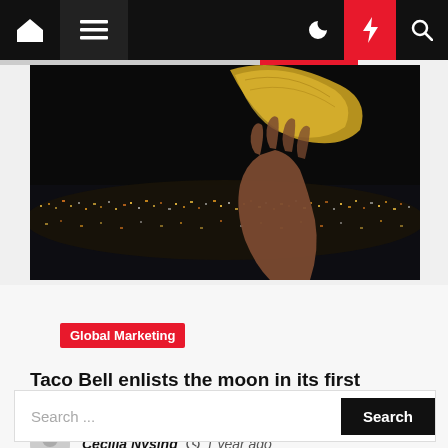Navigation bar with home, menu, moon, lightning, and search icons
[Figure (photo): A hand holding a taco shell up against a dark city skyline at night, with city lights in the background]
Global Marketing
Taco Bell enlists the moon in its first global marketing campaign
Cecilia Nysing  ⏱ 1 year ago
Search ...